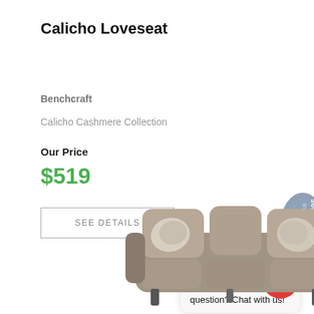Calicho Loveseat
Benchcraft
Calicho Cashmere Collection
Our Price
$519
SEE DETAILS
[Figure (illustration): Blue decorative badge with 'What's Your Sofa Style?' text rotated vertically]
[Figure (screenshot): Chat popup with furnish/mattress logos and text: Hey there, have a question? Chat with us!]
Hey there, have a question? Chat with us!
[Figure (photo): Gray loveseat/sofa with decorative pillows on a white background]